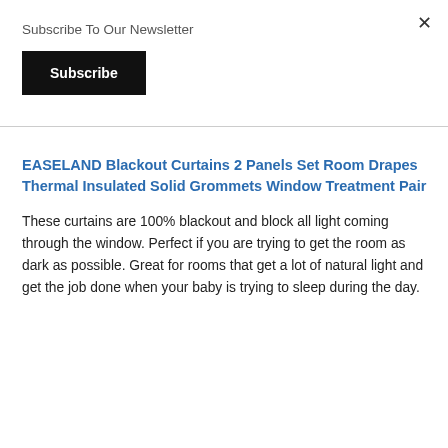Subscribe To Our Newsletter
Subscribe
EASELAND Blackout Curtains 2 Panels Set Room Drapes Thermal Insulated Solid Grommets Window Treatment Pair
These curtains are 100% blackout and block all light coming through the window. Perfect if you are trying to get the room as dark as possible. Great for rooms that get a lot of natural light and get the job done when your baby is trying to sleep during the day.